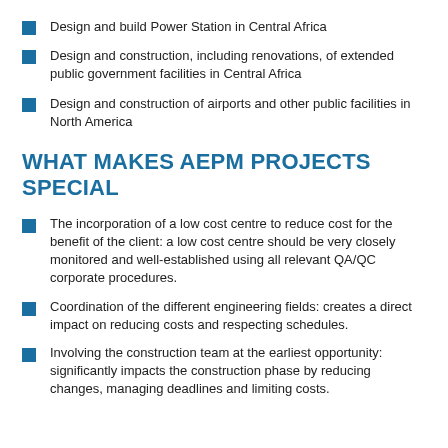Design and build Power Station in Central Africa
Design and construction, including renovations, of extended public government facilities in Central Africa
Design and construction of airports and other public facilities in North America
WHAT MAKES AEPM PROJECTS SPECIAL
The incorporation of a low cost centre to reduce cost for the benefit of the client: a low cost centre should be very closely monitored and well-established using all relevant QA/QC corporate procedures.
Coordination of the different engineering fields: creates a direct impact on reducing costs and respecting schedules.
Involving the construction team at the earliest opportunity: significantly impacts the construction phase by reducing changes, managing deadlines and limiting costs.